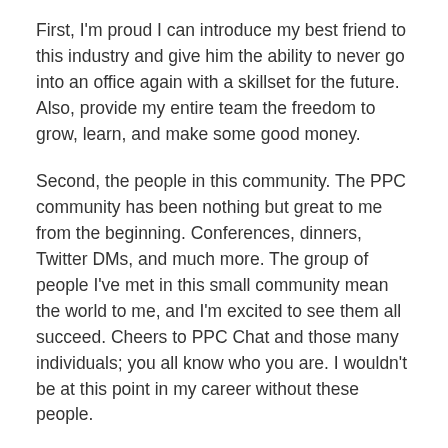First, I'm proud I can introduce my best friend to this industry and give him the ability to never go into an office again with a skillset for the future. Also, provide my entire team the freedom to grow, learn, and make some good money.
Second, the people in this community. The PPC community has been nothing but great to me from the beginning. Conferences, dinners, Twitter DMs, and much more. The group of people I've met in this small community mean the world to me, and I'm excited to see them all succeed. Cheers to PPC Chat and those many individuals; you all know who you are. I wouldn't be at this point in my career without these people.
What, if anything, do you wish you could “do over” in your PPC career?